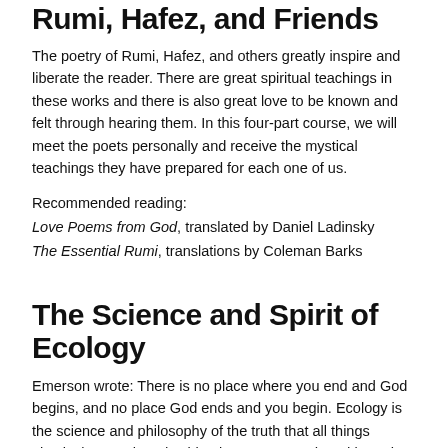Rumi, Hafez, and Friends
The poetry of Rumi, Hafez, and others greatly inspire and liberate the reader. There are great spiritual teachings in these works and there is also great love to be known and felt through hearing them. In this four-part course, we will meet the poets personally and receive the mystical teachings they have prepared for each one of us.
Recommended reading:
Love Poems from God, translated by Daniel Ladinsky
The Essential Rumi, translations by Coleman Barks
The Science and Spirit of Ecology
Emerson wrote: There is no place where you end and God begins, and no place God ends and you begin. Ecology is the science and philosophy of the truth that all things physical, mental, and spiritual are connected, and in truth never separated. The spiritual and practical applications of this